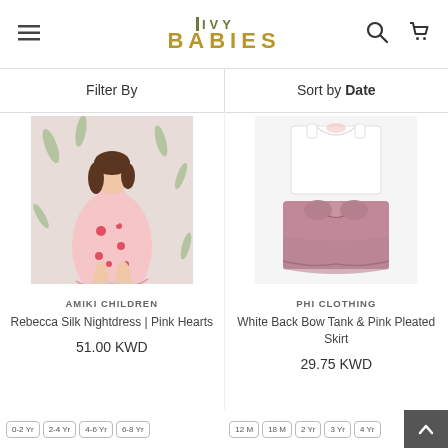IVY BABIES
Filter By
Sort by Date
[Figure (photo): Young girl wearing a pink silk nightdress with red heart pattern, standing against a floral wallpaper background]
AMIKI CHILDREN
Rebecca Silk Nightdress | Pink Hearts
51.00 KWD
[Figure (photo): White back bow tank top and pink pleated skirt set on white background]
PHI CLOTHING
White Back Bow Tank & Pink Pleated Skirt
29.75 KWD
0-2 Yr
2-4 Yr
4-6 Yr
6-8 Yr
12 M
18 M
2 Yr
3 Yr
4 Yr